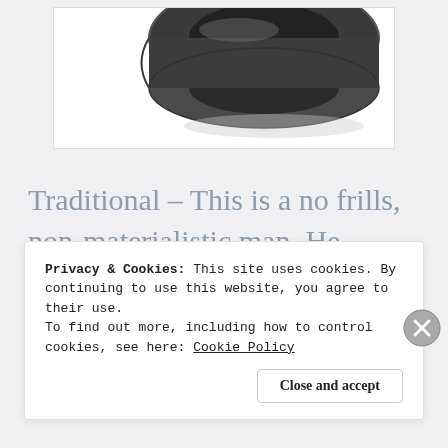[Figure (photo): Partial view of a dark metallic wedding ring against a white background, showing the ring from above at an angle, cropped at the top of the image.]
Traditional – This is a no frills, non-materialistic man. He understand the significance and symbolism of a traditional
Privacy & Cookies: This site uses cookies. By continuing to use this website, you agree to their use.
To find out more, including how to control cookies, see here: Cookie Policy
Close and accept